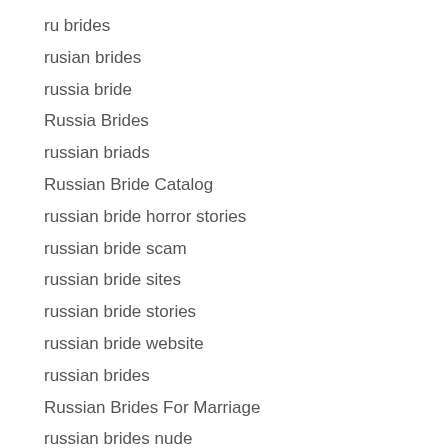ru brides
rusian brides
russia bride
Russia Brides
russian briads
Russian Bride Catalog
russian bride horror stories
russian bride scam
russian bride sites
russian bride stories
russian bride website
russian brides
Russian Brides For Marriage
russian brides nude
Russian Brides Scam